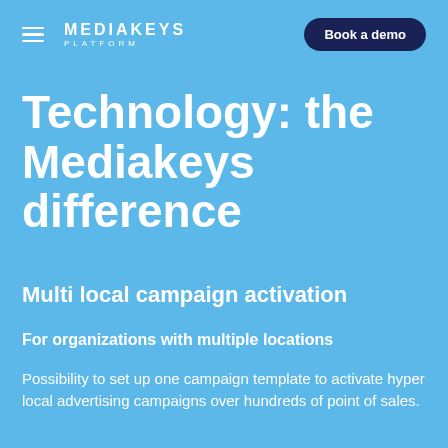MEDIAKEYS PLATFORM | Book a demo
Technology: the Mediakeys difference
Multi local campaign activation
For organizations with multiple locations
Possibility to set up one campaign template to activate hyper local advertising campaigns over hundreds of point of sales.